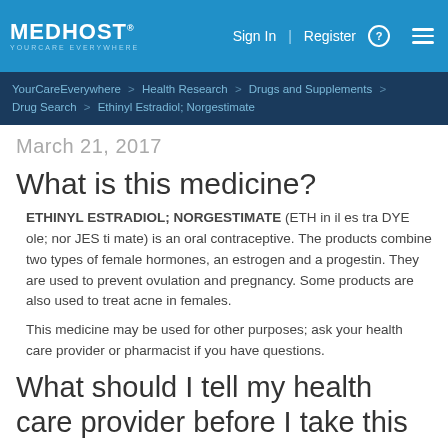MEDHOST YOURCARE EVERYWHERE | Sign In | Register
YourCareEverywhere > Health Research > Drugs and Supplements > Drug Search > Ethinyl Estradiol; Norgestimate
March 21, 2017
What is this medicine?
ETHINYL ESTRADIOL; NORGESTIMATE (ETH in il es tra DYE ole; nor JES ti mate) is an oral contraceptive. The products combine two types of female hormones, an estrogen and a progestin. They are used to prevent ovulation and pregnancy. Some products are also used to treat acne in females.
This medicine may be used for other purposes; ask your health care provider or pharmacist if you have questions.
What should I tell my health care provider before I take this